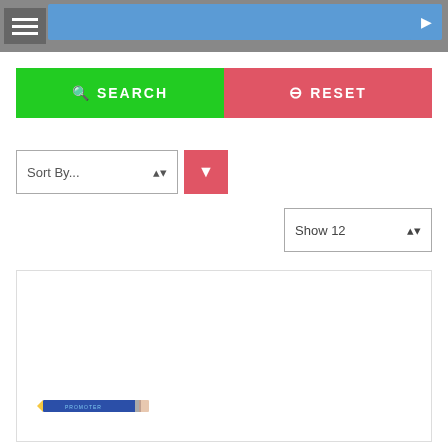[Figure (screenshot): Top navigation bar with hamburger menu icon on left, blue search bar in center, and arrow button on right]
SEARCH
RESET
Sort By...
Show 12
[Figure (photo): A small blue pencil shown horizontally in a product listing card]